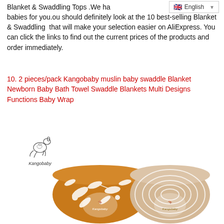Blanket & Swaddling Tops .We ha... or our babies for you.ou should definitely look at the 10 best-selling Blanket & Swaddling  that will make your selection easier on AliExpress. You can click the links to find out the current prices of the products and order immediately.
10. 2 pieces/pack Kangobaby muslin baby swaddle Blanket Newborn Baby Bath Towel Swaddle Blankets Multi Designs Functions Baby Wrap
[Figure (logo): Kangobaby brand logo with kangaroo illustration and text 'Kangobaby']
[Figure (photo): Two rolled Kangobaby swaddle blankets - one with orange/amber leaf pattern and one with light tan circular pattern, each showing the Kangobaby logo on the fabric]